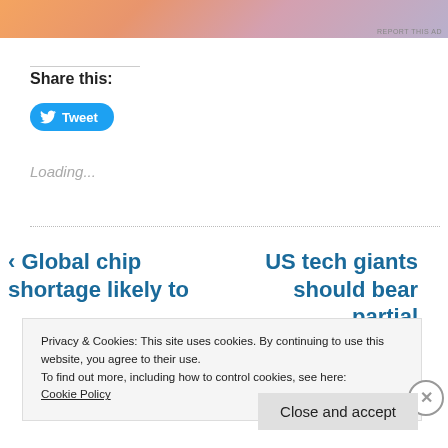[Figure (photo): Partial advertisement banner with orange/pink/lavender gradient visible at top of page]
REPORT THIS AD
Share this:
Tweet
Loading...
‹ Global chip shortage likely to
US tech giants should bear partial
Privacy & Cookies: This site uses cookies. By continuing to use this website, you agree to their use.
To find out more, including how to control cookies, see here:
Cookie Policy
Close and accept